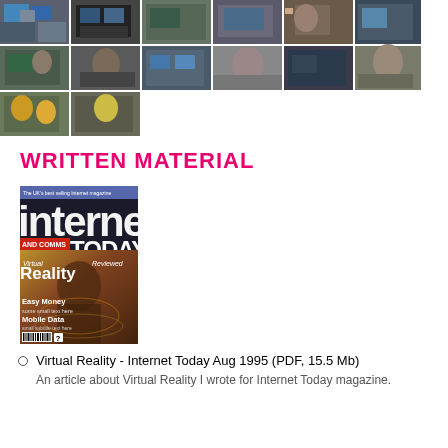[Figure (photo): A collage/grid of black and white and color photographs showing people working with computers and virtual reality equipment in various settings, arranged in a 6-column by 3-row grid.]
WRITTEN MATERIAL
[Figure (photo): Cover of 'Internet and Comms Today' magazine from August 1995, featuring the title 'internet TODAY' in large letters, with 'AND COMMS' label, 'Virtual Reality' as the main feature story, 'Reviewed', 'Easy Money', 'Mobile Data' as other features, and a Virtual Reality themed cover image.]
Virtual Reality - Internet Today Aug 1995 (PDF, 15.5 Mb)
An article about Virtual Reality I wrote for Internet Today magazine.